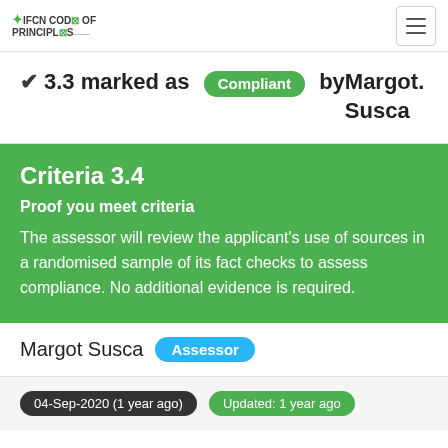IFCN CODE OF PRINCIPLES
3.3 marked as Compliant by Margot Susca.
Criteria 3.4
Proof you meet criteria
The assessor will review the applicant's use of sources in a randomised sample of its fact checks to assess compliance. No additional evidence is required.
Margot Susca  Assessor
04-Sep-2020 (1 year ago)  Updated: 1 year ago